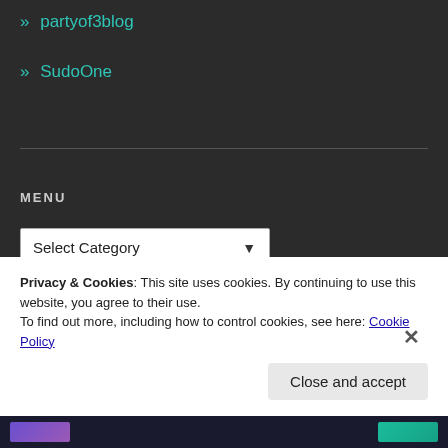» partyof3blog
» SudoOne
MENU
Select Category
TAGS
#writing
Blood Lust
challenge
JSC
Makeup
poem
Privacy & Cookies: This site uses cookies. By continuing to use this website, you agree to their use.
To find out more, including how to control cookies, see here: Cookie Policy
Close and accept